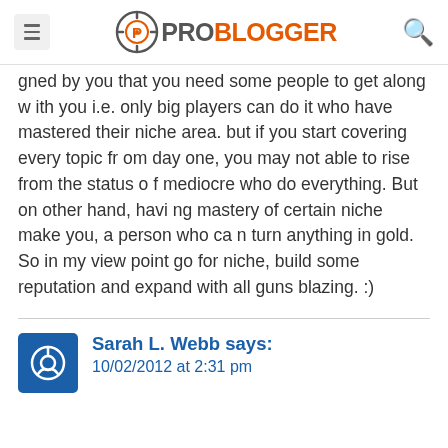ProBlogger
gned by you that you need some people to get along with you i.e. only big players can do it who have mastered their niche area. but if you start covering every topic from day one, you may not able to rise from the status of mediocre who do everything. But on other hand, having mastery of certain niche make you, a person who can turn anything in gold.
So in my view point go for niche, build some reputation and expand with all guns blazing. :)
Sarah L. Webb says:
10/02/2012 at 2:31 pm